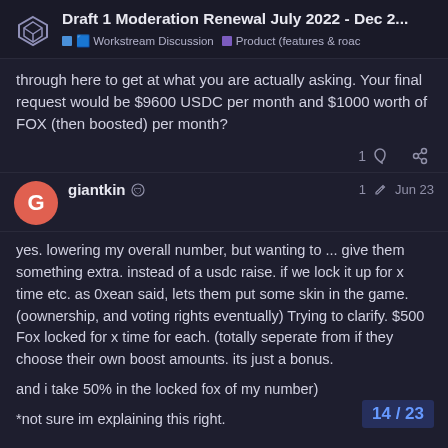Draft 1 Moderation Renewal July 2022 - Dec 2... | 🟦 Workstream Discussion | 🟪 Product (features & roac
through here to get at what you are actually asking. Your final request would be $9600 USDC per month and $1000 worth of FOX (then boosted) per month?
giantkin 🛡 1 ✏ Jun 23
yes. lowering my overall number, but wanting to ... give them something extra. instead of a usdc raise. if we lock it up for x time etc. as 0xean said, lets them put some skin in the game. (oownership, and voting rights eventually) Trying to clarify. $500 Fox locked for x time for each. (totally seperate from if they choose their own boost amounts. its just a bonus.

and i take 50% in the locked fox of my number)

*not sure im explaining this right.
14 / 23